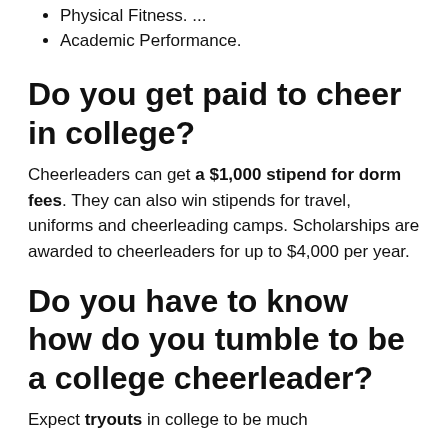Physical Fitness. ...
Academic Performance.
Do you get paid to cheer in college?
Cheerleaders can get a $1,000 stipend for dorm fees. They can also win stipends for travel, uniforms and cheerleading camps. Scholarships are awarded to cheerleaders for up to $4,000 per year.
Do you have to know how do you tumble to be a college cheerleader?
Expect tryouts in college to be much